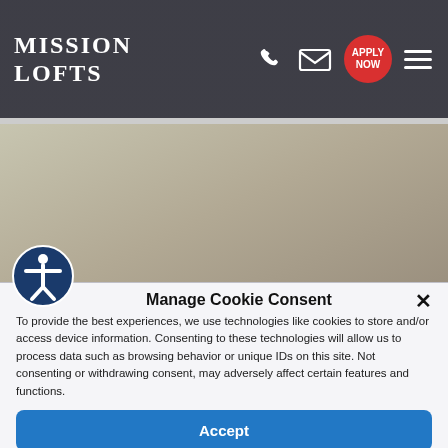Mission Lofts
[Figure (screenshot): Website header/navigation bar with Mission Lofts logo, phone icon, email icon, Apply Now red circle button, and hamburger menu icon on dark background]
[Figure (photo): Partial view of an interior/exterior photograph of the property, muted beige-grey tones]
Manage Cookie Consent
To provide the best experiences, we use technologies like cookies to store and/or access device information. Consenting to these technologies will allow us to process data such as browsing behavior or unique IDs on this site. Not consenting or withdrawing consent, may adversely affect certain features and functions.
Accept
Cookie Policy  Privacy Statement